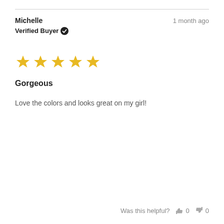Michelle
Verified Buyer ✓
1 month ago
[Figure (other): 5 gold stars rating]
Gorgeous
Love the colors and looks great on my girl!
Was this helpful? 👍 0 👎 0